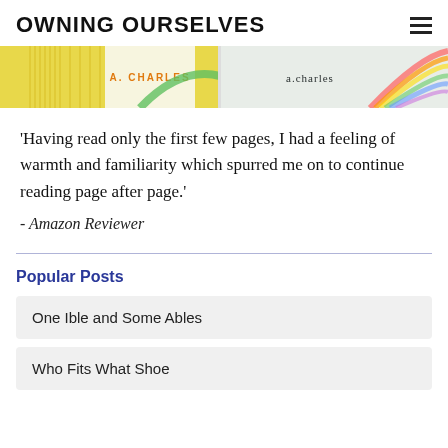OWNING OURSELVES
[Figure (illustration): Banner image showing two book covers side by side. Left cover has gold/yellow geometric pattern with 'A. CHARLES' in orange text. Right cover has light green/teal background with 'a.charles' text and colorful rainbow arc on the right side.]
'Having read only the first few pages, I had a feeling of warmth and familiarity which spurred me on to continue reading page after page.'
- Amazon Reviewer
Popular Posts
One Ible and Some Ables
Who Fits What Shoe